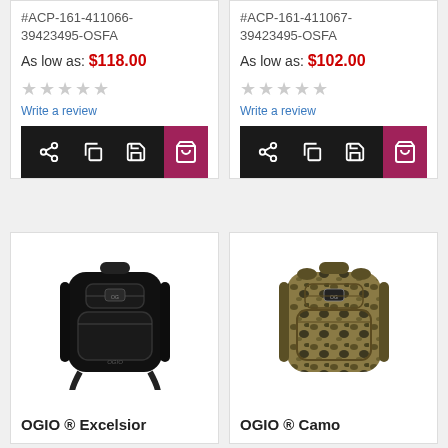#ACP-161-411066-39423495-OSFA
As low as: $118.00
★★★★★ Write a review
#ACP-161-411067-39423495-OSFA
As low as: $102.00
★★★★★ Write a review
[Figure (photo): OGIO black backpack product photo]
OGIO ® Excelsior
[Figure (photo): OGIO camo pattern backpack product photo]
OGIO ® Camo